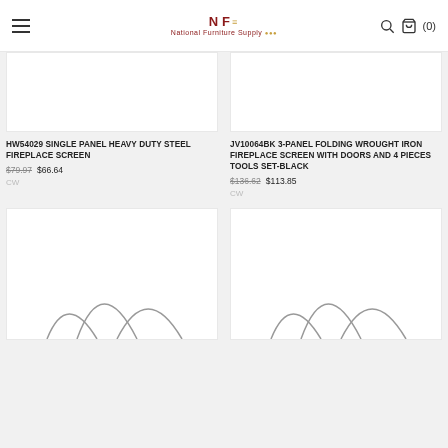National Furniture Supply — (0)
HW54029 SINGLE PANEL HEAVY DUTY STEEL FIREPLACE SCREEN $79.97 $66.64 CW
JV10064BK 3-PANEL FOLDING WROUGHT IRON FIREPLACE SCREEN WITH DOORS AND 4 PIECES TOOLS SET-BLACK $136.62 $113.85 CW
[Figure (photo): Product image placeholder top-left (partially visible, white background)]
[Figure (photo): Product image placeholder top-right (partially visible, white background)]
[Figure (photo): Product image placeholder bottom-left (partially visible, fireplace tool arcs visible)]
[Figure (photo): Product image placeholder bottom-right (partially visible, fireplace tool arcs visible)]